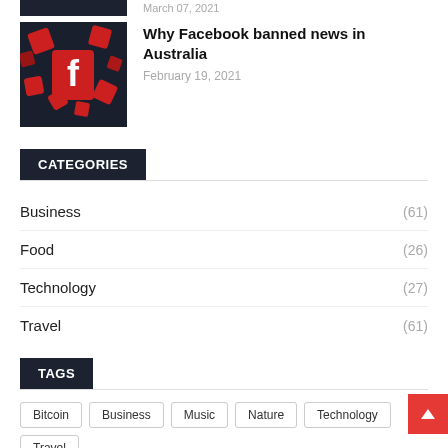March 07, 2021
[Figure (photo): Facebook logo icons on dark background]
Why Facebook banned news in Australia
February 19, 2021
CATEGORIES
Business (61)
Food (26)
Technology (27)
Travel (61)
TAGS
Bitcoin
Business
Music
Nature
Technology
Travel
World